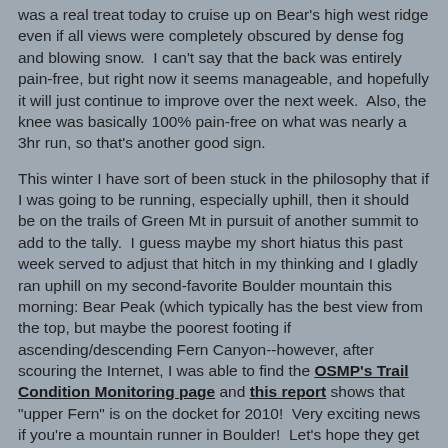was a real treat today to cruise up on Bear's high west ridge even if all views were completely obscured by dense fog and blowing snow.  I can't say that the back was entirely pain-free, but right now it seems manageable, and hopefully it will just continue to improve over the next week.  Also, the knee was basically 100% pain-free on what was nearly a 3hr run, so that's another good sign.
This winter I have sort of been stuck in the philosophy that if I was going to be running, especially uphill, then it should be on the trails of Green Mt in pursuit of another summit to add to the tally.  I guess maybe my short hiatus this past week served to adjust that hitch in my thinking and I gladly ran uphill on my second-favorite Boulder mountain this morning: Bear Peak (which typically has the best view from the top, but maybe the poorest footing if ascending/descending Fern Canyon--however, after scouring the Internet, I was able to find the OSMP's Trail Condition Monitoring page and this report shows that "upper Fern" is on the docket for 2010!  Very exciting news if you're a mountain runner in Boulder!  Let's hope they get on that as soon as the snow melts.  Also, I am more than willing to help.).